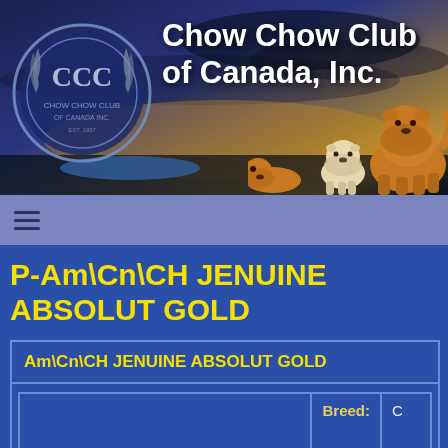[Figure (illustration): Chow Chow Club of Canada Inc. banner with club seal/logo on left, title text in center, and two chow chow dogs on right against a dramatic sky background]
≡
P-Am\Cn\CH JENUINE ABSOLUT GOLD
| Am\Cn\CH JENUINE ABSOLUT GOLD | Breed: | C |
| --- | --- | --- |
|  |  |  |